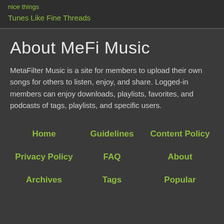nice things
Tunes Like Fine Threads
About MeFi Music
MetaFilter Music is a site for members to upload their own songs for others to listen, enjoy, and share. Logged-in members can enjoy downloads, playlists, favorites, and podcasts of tags, playlists, and specific users.
Home
Guidelines
Content Policy
Privacy Policy
FAQ
About
Archives
Tags
Popular